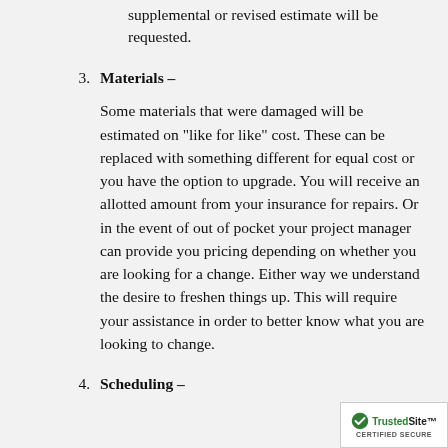supplemental or revised estimate will be requested.
3. Materials – Some materials that were damaged will be estimated on “like for like” cost. These can be replaced with something different for equal cost or you have the option to upgrade. You will receive an allotted amount from your insurance for repairs. Or in the event of out of pocket your project manager can provide you pricing depending on whether you are looking for a change. Either way we understand the desire to freshen things up. This will require your assistance in order to better know what you are looking to change.
4. Scheduling –
[Figure (logo): TrustedSite Certified Secure badge in bottom right corner]